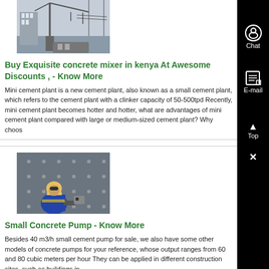[Figure (photo): Photo of construction crane equipment at a site]
Buy Exquisite concrete mixer in kenya At Awesome Discounts , - Know More
Mini cement plant is a new cement plant, also known as a small cement plant, which refers to the cement plant with a clinker capacity of 50-500tpd Recently, mini cement plant becomes hotter and hotter, what are advantages of mini cement plant compared with large or medium-sized cement plant? Why choos...
[Figure (photo): Worker in blue uniform and yellow hard hat working on construction equipment]
Small Concrete Pump - Know More
Besides 40 m3/h small cement pump for sale, we also have some other models of concrete pumps for your reference, whose output ranges from 60 and 80 cubic meters per hour They can be applied in different construction sites, such as buildings in ,...